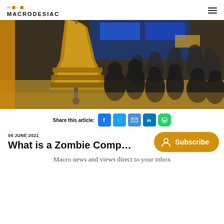MACRODESIAC
[Figure (photo): A large bronze or brass bell hanging in the foreground with a crowd of business people in suits networking in the background at what appears to be a stock exchange or financial event.]
Share this article:
09 JUNE 2021    4 MIN READ
What is a Zombie Comp...
Macro news and views direct to your inbox